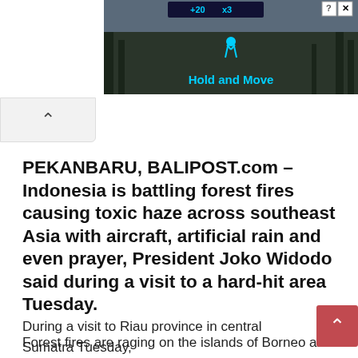[Figure (screenshot): Advertisement banner showing a dark forest/winter scene with a game interface and text 'Hold and Move'. Has score indicators (+20, x3) and a close button (X).]
[Figure (other): Browser back navigation button (up chevron arrow) in a light gray rounded tab at top left.]
PEKANBARU, BALIPOST.com – Indonesia is battling forest fires causing toxic haze across southeast Asia with aircraft, artificial rain and even prayer, President Joko Widodo said during a visit to a hard-hit area Tuesday.
Forest fires are raging on the islands of Borneo and Sumatra, sending a choking fug across the region — including towards neighbours Malaysia and Singapore.
[Figure (other): Website scroll-to-top button: a pink/red rounded square button with a white upward chevron arrow, positioned at bottom right.]
During a visit to Riau province in central Sumatra Tuesday,